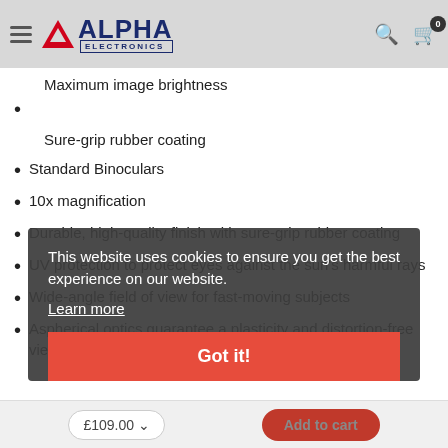Alpha Electronics – navigation header with hamburger menu, logo, search icon, cart (0)
Maximum image brightness
Sure-grip rubber coating
Standard Binoculars
10x magnification
Durable, high-quality finish with sure-grip rubber coating
UV protection to protect eyes against the sun's harmful rays
Wide-angle field of view for fast-moving subjects
Aspherical optics guarantee a plasticity and distortion-free view
This website uses cookies to ensure you get the best experience on our website.
Learn more
Got it!
£109.00 ∨   Add to cart